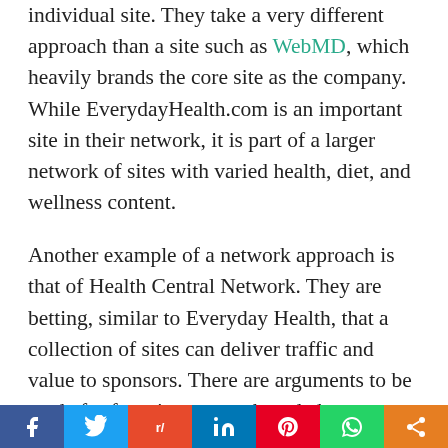individual site. They take a very different approach than a site such as WebMD, which heavily brands the core site as the company. While EverydayHealth.com is an important site in their network, it is part of a larger network of sites with varied health, diet, and wellness content.
Another example of a network approach is that of Health Central Network. They are betting, similar to Everyday Health, that a collection of sites can deliver traffic and value to sponsors. There are arguments to be made for focusing on one branded destination and arguments to be made for a fragmented network of sites. Can they coexist in the same market? Yes, and you have sponsors today that may actually invest in both approaches and believe
[Figure (other): Social media share bar with icons for Facebook, Twitter, Reddit, LinkedIn, Pinterest, WhatsApp, and a generic share button]